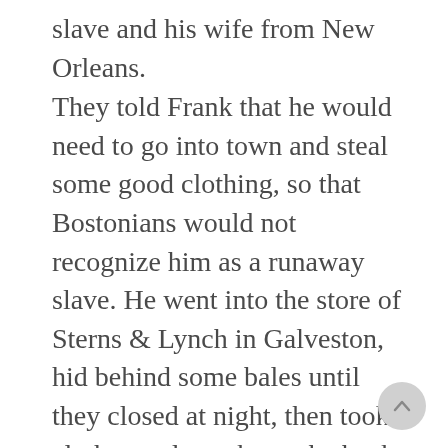slave and his wife from New Orleans.
They told Frank that he would need to go into town and steal some good clothing, so that Bostonians would not recognize him as a runaway slave. He went into the store of Sterns & Lynch in Galveston, hid behind some bales until they closed at night, then took clothes and snuck out the back door and back to the Billow. The sailors hid Frank among the cargo and brought him food until